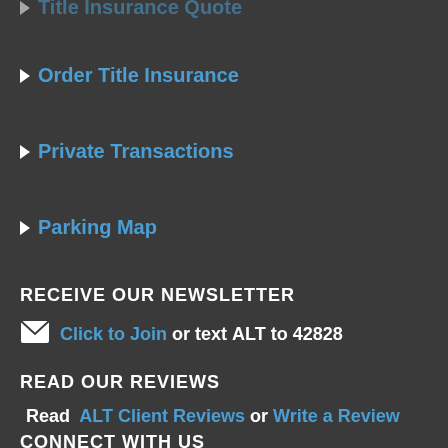Title Insurance Quote
Order Title Insurance
Private Transactions
Parking Map
RECEIVE OUR NEWSLETTER
Click to Join or text ALT to 42828
READ OUR REVIEWS
Read ALT Client Reviews or Write a Review
CONNECT WITH US